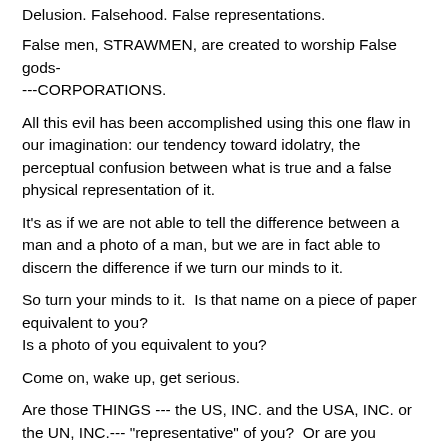Delusion.  Falsehood.  False representations.
False men, STRAWMEN, are created to worship False gods-----CORPORATIONS.
All this evil has been accomplished using this one flaw in our imagination: our tendency toward idolatry, the perceptual confusion between what is true and a false physical representation of it.
It's as if we are not able to tell the difference between a man and a photo of a man, but we are in fact able to discern the difference if we turn our minds to it.
So turn your minds to it.  Is that name on a piece of paper equivalent to you?
Is a photo of you equivalent to you?
Come on, wake up, get serious.
Are those THINGS --- the US, INC. and the USA, INC. or the UN, INC.--- "representative" of you?  Or are you representative of them?